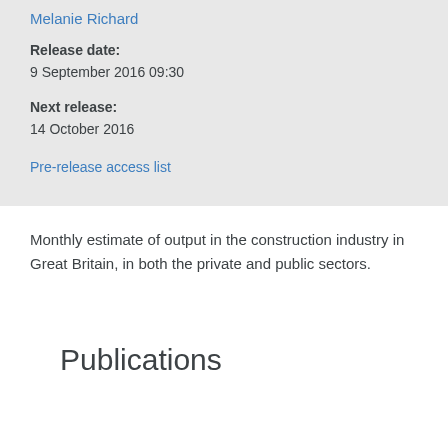Melanie Richard
Release date:
9 September 2016 09:30
Next release:
14 October 2016
Pre-release access list
Monthly estimate of output in the construction industry in Great Britain, in both the private and public sectors.
Publications